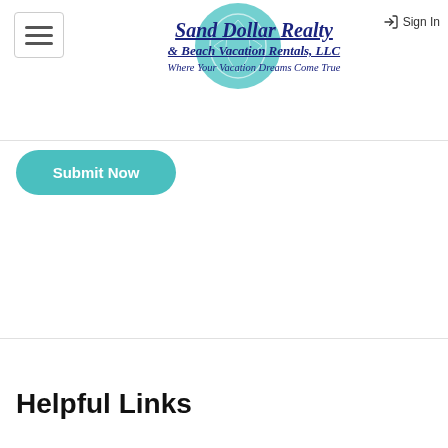Sand Dollar Realty & Beach Vacation Rentals, LLC — Where Your Vacation Dreams Come True
Sign In
Submit Now
Helpful Links